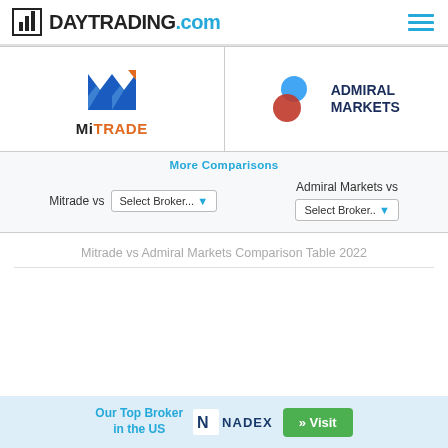DAYTRADING.com
[Figure (logo): MiTrade broker logo - blue geometric M shape with orange accent and MiTRADE text]
[Figure (logo): Admiral Markets broker logo - blue and red dots with ADMIRAL MARKETS text]
More Comparisons
Mitrade vs Select Broker...
Admiral Markets vs Select Broker...
Mitrade vs Admiral Markets Comparison Table 2022
Our Top Broker in the US
[Figure (logo): NADEX logo]
» Visit